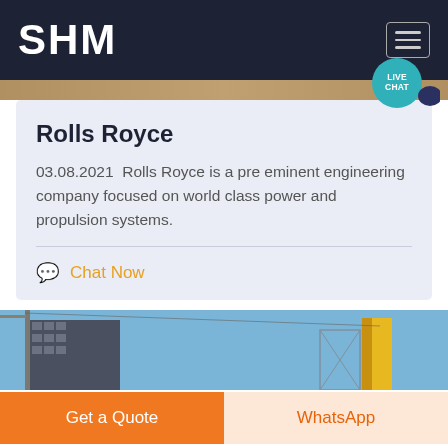SHM
Rolls Royce
03.08.2021  Rolls Royce is a pre eminent engineering company focused on world class power and propulsion systems.
Chat Now
[Figure (photo): Industrial/marine equipment scene with cranes and structures against blue sky]
Get a Quote
WhatsApp